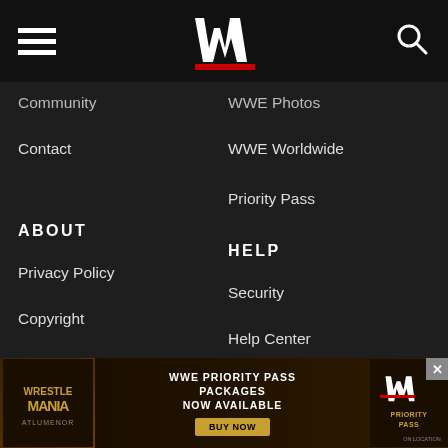WWE navigation header with hamburger menu, WWE logo, and search icon
Community
WWE Photos
Contact
WWE Worldwide
Priority Pass
ABOUT
HELP
Privacy Policy
Security
Copyright
Help Center
Terms of Use
Redeem Gift Card
Cookie Preferences
Cookie Policy
Do Not Sell My Info
Closed Captions
[Figure (infographic): WrestleMania advertisement banner: WWE Priority Pass Packages Now Available with Buy Now button]